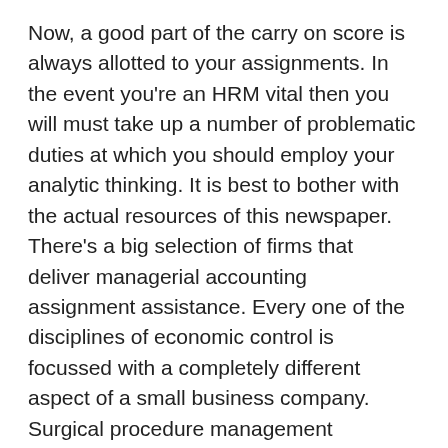Now, a good part of the carry on score is always allotted to your assignments. In the event you're an HRM vital then you will must take up a number of problematic duties at which you should employ your analytic thinking. It is best to bother with the actual resources of this newspaper. There's a big selection of firms that deliver managerial accounting assignment assistance. Every one of the disciplines of economic control is focussed with a completely different aspect of a small business company. Surgical procedure management assignment aid-excelling in relief analyze Operations relief is considered the most critical subjects around the training of relief as just a flourishing operation could result in a prosperous leadership. Up in Forearms About Assignment Help out? Any time someone will there ever be to look after your monotonous missions, then you're totally free to channelize your valuable time the way you